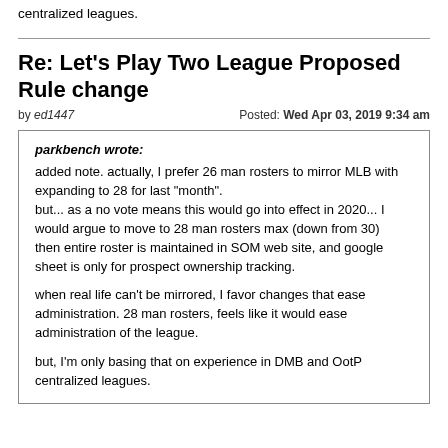centralized leagues.
Re: Let's Play Two League Proposed Rule change
by ed1447   Posted: Wed Apr 03, 2019 9:34 am
parkbench wrote:
added note. actually, I prefer 26 man rosters to mirror MLB with expanding to 28 for last "month".
but... as a no vote means this would go into effect in 2020... I would argue to move to 28 man rosters max (down from 30)
then entire roster is maintained in SOM web site, and google sheet is only for prospect ownership tracking.

when real life can't be mirrored, I favor changes that ease administration. 28 man rosters, feels like it would ease administration of the league.

but, I'm only basing that on experience in DMB and OotP centralized leagues.